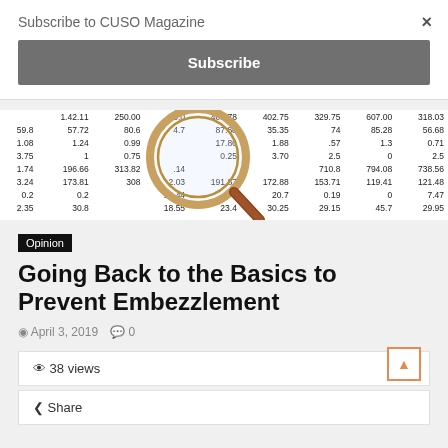Subscribe to CUSO Magazine
×
Subscribe
[Figure (photo): A magnifying glass placed over a financial spreadsheet with columns of numerical data, including values like 403.78, 402.75, 329.75, 87.88, 35.35, 85.28, 56.68, 191.87, 172.88, 153.71, 119.41, 121.48 and others.]
Opinion
Going Back to the Basics to Prevent Embezzlement
April 3, 2019  0
38 views
Share